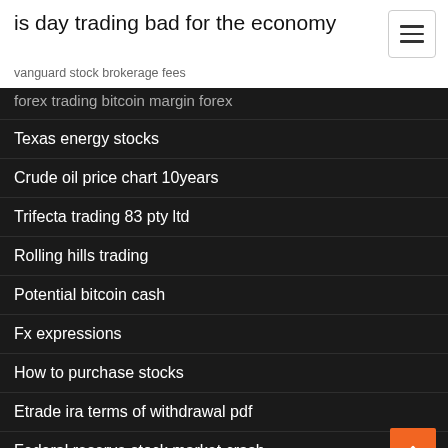is day trading bad for the economy
vanguard stock brokerage fees
forex trading bitcoin margin forex (partially visible)
Texas energy stocks
Crude oil price chart 10years
Trifecta trading 83 pty ltd
Rolling hills trading
Potential bitcoin cash
Fx expressions
How to purchase stocks
Etrade ira terms of withdrawal pdf
Federal reserve stock market crash
Best website to start trading stocks (partially visible)